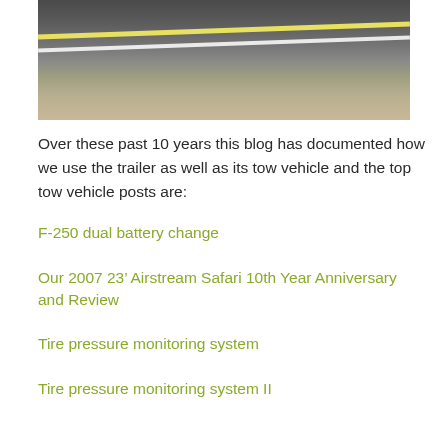[Figure (photo): A road photo showing asphalt pavement with yellow and white lane markings, and a sandy/gravelly roadside shoulder.]
Over these past 10 years this blog has documented how we use the trailer as well as its tow vehicle and the top tow vehicle posts are:
F-250 dual battery change
Our 2007 23’ Airstream Safari 10th Year Anniversary and Review
Tire pressure monitoring system
Tire pressure monitoring system II